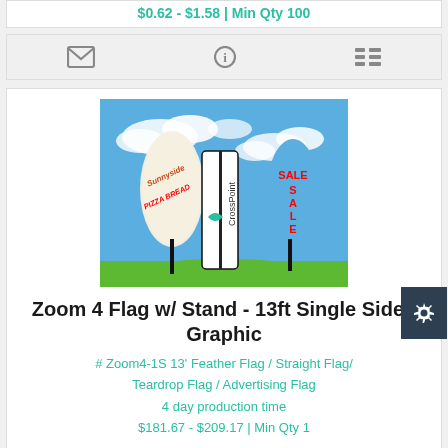$0.62 - $1.58 | Min Qty 100
[Figure (screenshot): Icon toolbar with envelope, info, and list icons on a light gray background]
[Figure (photo): Product photo showing three feather/teardrop advertising flags with custom graphics (Sunnyside, CrossPoint, SALE) against a blue sky with green grass]
Zoom 4 Flag w/ Stand - 13ft Single Sided Graphic
# Zoom4-1S 13' Feather Flag / Straight Flag/ Teardrop Flag / Advertising Flag
4 day production time
$181.67 - $209.17 | Min Qty 1